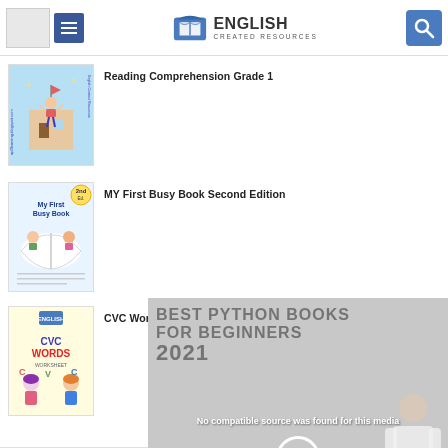English Created Resources
[Figure (screenshot): Book thumbnail: Reading Comprehension Grade 1 - child with raised arms at a building]
Reading Comprehension Grade 1
[Figure (screenshot): Book thumbnail: MY First Busy Book Second Edition - children reading an open book]
MY First Busy Book Second Edition
[Figure (screenshot): Book thumbnail: CVC Words Activities - children with colorful letters]
CVC Words Activities
[Figure (screenshot): Video overlay: Best Python Books for Beginners 2021 with IT Source Code logo, Python logo, and person. Error message: No compatible source was found for this media]